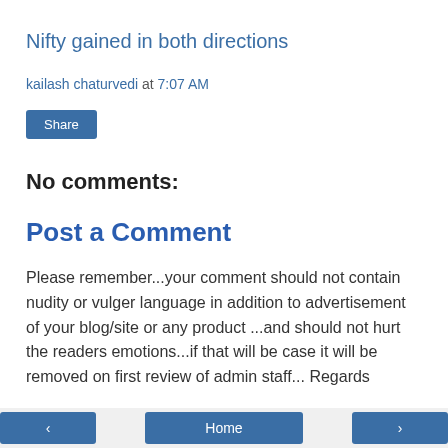Nifty gained in both directions
kailash chaturvedi at 7:07 AM
Share
No comments:
Post a Comment
Please remember...your comment should not contain nudity or vulger language in addition to advertisement of your blog/site or any product ...and should not hurt the readers emotions...if that will be case it will be removed on first review of admin staff... Regards
‹  Home  ›